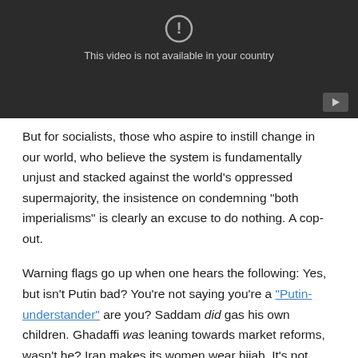[Figure (screenshot): Video player showing unavailable message: circle with exclamation mark icon, text 'This video is not available in your country', and a play button in bottom right corner. Dark background.]
But for socialists, those who aspire to instill change in our world, who believe the system is fundamentally unjust and stacked against the world's oppressed supermajority, the insistence on condemning "both imperialisms" is clearly an excuse to do nothing. A cop-out.
Warning flags go up when one hears the following: Yes, but isn't Putin bad? You're not saying you're a "Putin-understander" are you? Saddam did gas his own children. Ghadaffi was leaning towards market reforms, wasn't he? Iran makes its women wear hijab. It's not purely socialist. Etc.